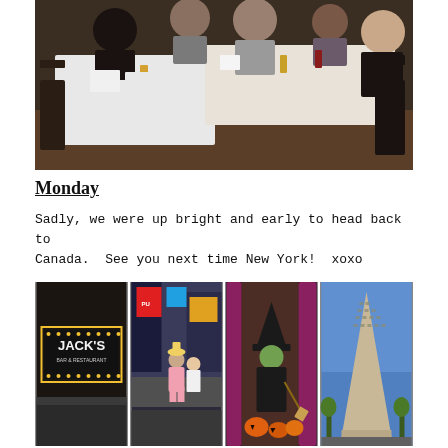[Figure (photo): Group of people sitting around restaurant tables with white tablecloths, drinks visible, indoor restaurant setting with wooden floors]
Monday
Sadly, we were up bright and early to head back to Canada.  See you next time New York!  xoxo
[Figure (photo): Four photos side by side: Jack's Bar & Restaurant sign, Times Square street scene with performers, indoor Halloween decoration with witch, Flatiron Building exterior]